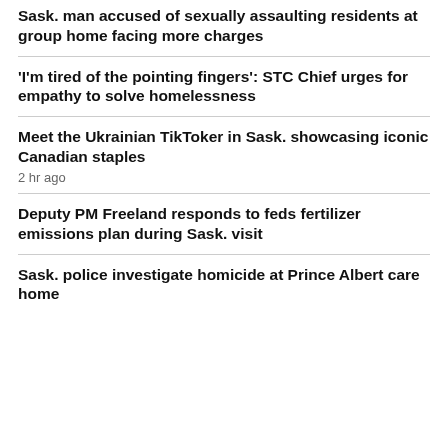Sask. man accused of sexually assaulting residents at group home facing more charges
'I'm tired of the pointing fingers': STC Chief urges for empathy to solve homelessness
Meet the Ukrainian TikToker in Sask. showcasing iconic Canadian staples
2 hr ago
Deputy PM Freeland responds to feds fertilizer emissions plan during Sask. visit
Sask. police investigate homicide at Prince Albert care home